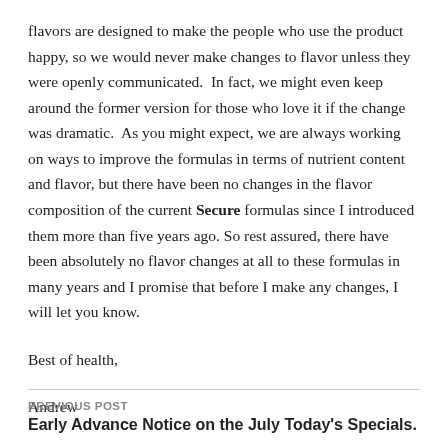flavors are designed to make the people who use the product happy, so we would never make changes to flavor unless they were openly communicated. In fact, we might even keep around the former version for those who love it if the change was dramatic. As you might expect, we are always working on ways to improve the formulas in terms of nutrient content and flavor, but there have been no changes in the flavor composition of the current Secure formulas since I introduced them more than five years ago. So rest assured, there have been absolutely no flavor changes at all to these formulas in many years and I promise that before I make any changes, I will let you know.
Best of health,
Andrew
PREVIOUS POST
Early Advance Notice on the July Today's Specials.